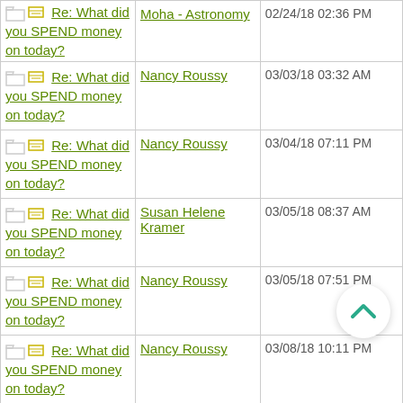| Subject | Author | Date/Time |
| --- | --- | --- |
| Re: What did you SPEND money on today? | Moha - Astronomy | 02/24/18 02:36 PM |
| Re: What did you SPEND money on today? | Nancy Roussy | 03/03/18 03:32 AM |
| Re: What did you SPEND money on today? | Nancy Roussy | 03/04/18 07:11 PM |
| Re: What did you SPEND money on today? | Susan Helene Kramer | 03/05/18 08:37 AM |
| Re: What did you SPEND money on today? | Nancy Roussy | 03/05/18 07:51 PM |
| Re: What did you SPEND money on today? | Nancy Roussy | 03/08/18 10:11 PM |
| Re: What did you SPEND money on today? | Angel S. Class | 03/09/18 08:18 AM |
| Re: What did you SPEND money on today? | Nancy Roussy | 03/09/18 07:18 PM |